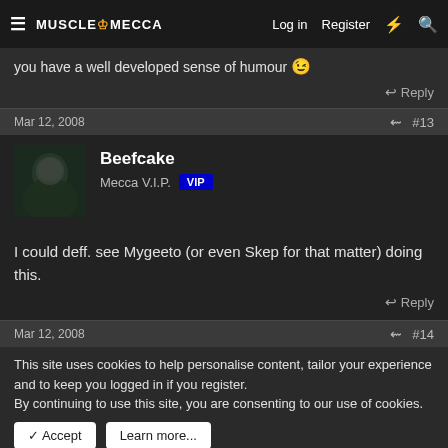MuscleMecca | Log in | Register
you have a well developed sense of humour 😉
Reply
Mar 12, 2008 #13
Beefcake
Mecca V.I.P. VIP
I could deff. see Mygeeto (or even Skep for that matter) doing this.
Reply
Mar 12, 2008 #14
This site uses cookies to help personalise content, tailor your experience and to keep you logged in if you register.
By continuing to use this site, you are consenting to our use of cookies.
Accept | Learn more...